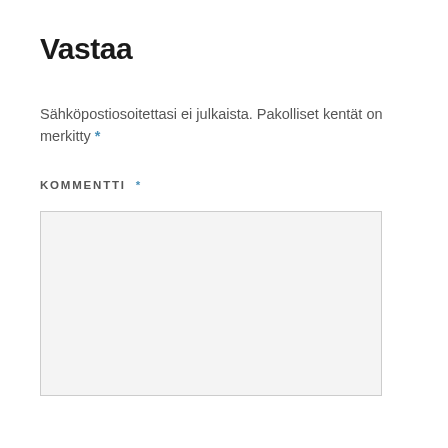Vastaa
Sähköpostiosoitettasi ei julkaista. Pakolliset kentät on merkitty *
KOMMENTTI *
[Figure (other): Empty comment textarea input field with light gray background and border]